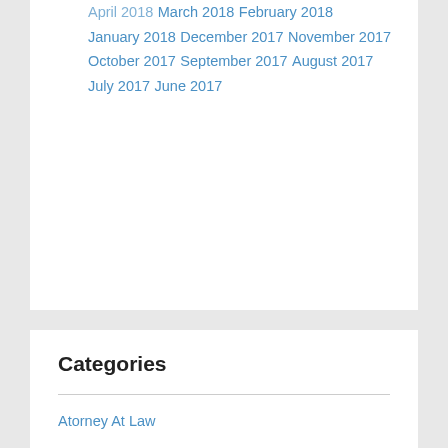April 2018
March 2018
February 2018
January 2018
December 2017
November 2017
October 2017
September 2017
August 2017
July 2017
June 2017
Categories
Atorney At Law